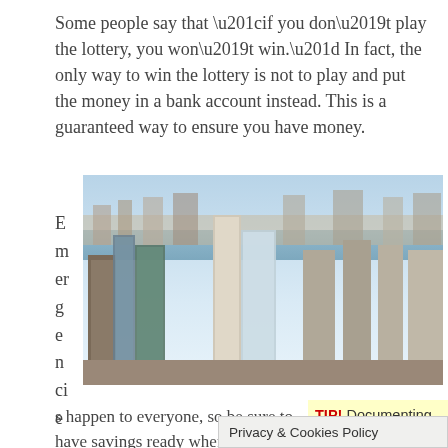Some people say that “if you don’t play the lottery, you won’t win.” In fact, the only way to win the lottery is not to play and put the money in a bank account instead. This is a guaranteed way to ensure you have money.
[Figure (photo): Aerial view of a dense urban skyline with skyscrapers, a river in the background, and clear sky above — appears to be New York City.]
Emergencies happen to everyone, so be sure to have savings ready when the time come... Depending on your s...
TIP! Documenting each purchase you make daily can allow ... here
Privacy & Cookies Policy